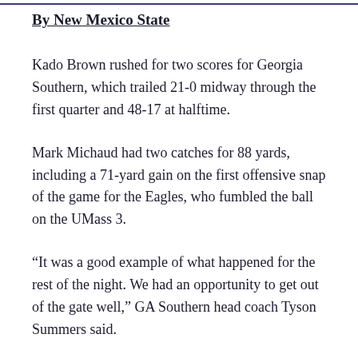By New Mexico State
Kado Brown rushed for two scores for Georgia Southern, which trailed 21-0 midway through the first quarter and 48-17 at halftime.
Mark Michaud had two catches for 88 yards, including a 71-yard gain on the first offensive snap of the game for the Eagles, who fumbled the ball on the UMass 3.
“It was a good example of what happened for the rest of the night. We had an opportunity to get out of the gate well,” GA Southern head coach Tyson Summers said.